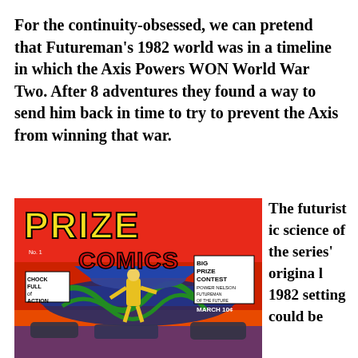For the continuity-obsessed, we can pretend that Futureman's 1982 world was in a timeline in which the Axis Powers WON World War Two. After 8 adventures they found a way to send him back in time to try to prevent the Axis from winning that war.
[Figure (illustration): Cover of Prize Comics No. 1, March, 10 cents. Features bold yellow 'PRIZE' text and red 'COMICS' text. Labels: 'BIG PRIZE CONTEST', 'CHOCK FULL OF ACTION', 'POWER NELSON FUTUREMAN OF THE FUTURE'. Shows a futuristic superhero in yellow suit fighting with sci-fi machinery and rockets on a red/orange background.]
The futuristic science of the series' original 1982 setting could be